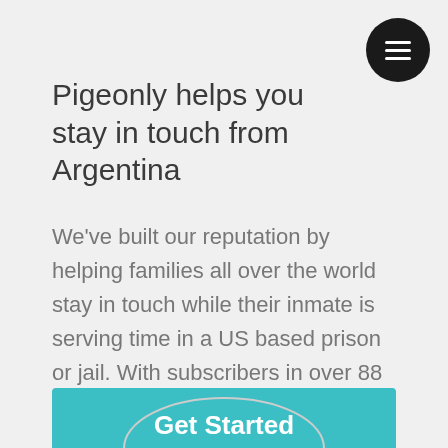Pigeonly helps you stay in touch from Argentina
We've built our reputation by helping families all over the world stay in touch while their inmate is serving time in a US based prison or jail. With subscribers in over 88 countries, we've become the largest independent providers of affordable inmate services.
Get Started